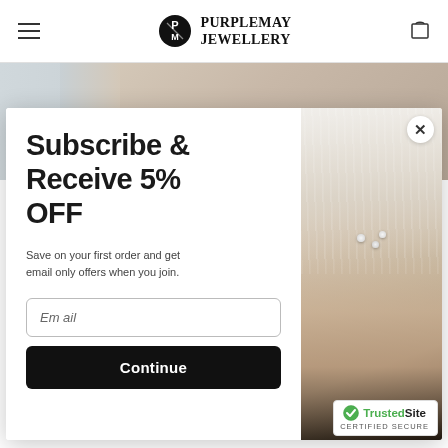PurpleMay Jewellery
[Figure (photo): Background photo strip showing a person wearing jewellery, with soft grey/nude tones]
Subscribe & Receive 5% OFF
Save on your first order and get email only offers when you join.
[Figure (photo): Popup modal right-side photo: woman's hands clasped together wearing rings and a pearl bracelet, with white fabric in background]
TrustedSite CERTIFIED SECURE